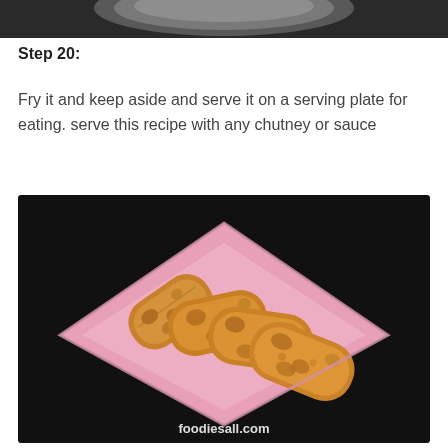[Figure (photo): Top portion of a previous step image, partially cropped at the top of the page]
Step 20:
Fry it and keep aside and serve it on a serving plate for eating. serve this recipe with any chutney or sauce
[Figure (photo): Four fried spring rolls arranged on a pink square plate against a dark background. Watermark reads foodiesall.com]